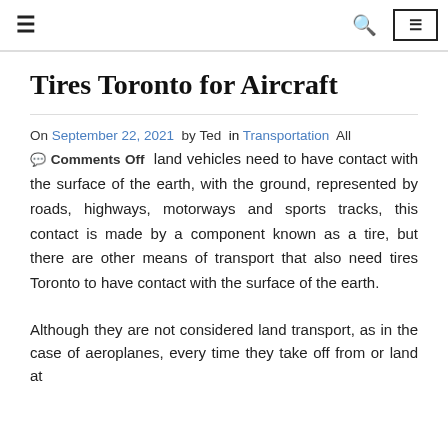≡  🔍  [MENU]
Tires Toronto for Aircraft
On September 22, 2021 by Ted in Transportation All 💬 Comments Off land vehicles need to have contact with the surface of the earth, with the ground, represented by roads, highways, motorways and sports tracks, this contact is made by a component known as a tire, but there are other means of transport that also need tires Toronto to have contact with the surface of the earth.
Although they are not considered land transport, as in the case of aeroplanes, every time they take off from or land at